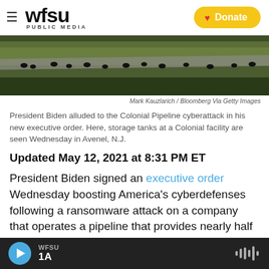WFSU PUBLIC MEDIA — Donate
[Figure (photo): Photo of geese near a road with green grass and dark background, storage tanks at a Colonial facility in Avenel, N.J.]
Mark Kauzlarich / Bloomberg Via Getty Images
President Biden alluded to the Colonial Pipeline cyberattack in his new executive order. Here, storage tanks at a Colonial facility are seen Wednesday in Avenel, N.J.
Updated May 12, 2021 at 8:31 PM ET
President Biden signed an executive order Wednesday boosting America's cyberdefenses following a ransomware attack on a company that operates a pipeline that provides nearly half of the
WFSU 1A — audio player bar